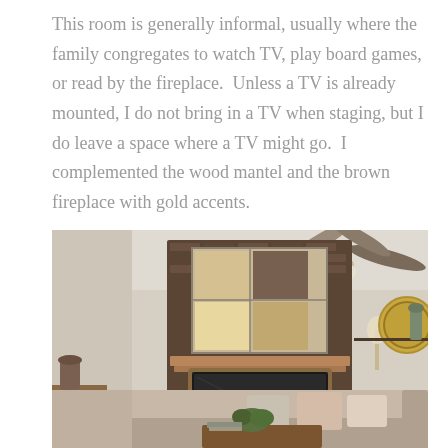This room is generally informal, usually where the family congregates to watch TV, play board games, or read by the fireplace.  Unless a TV is already mounted, I do not bring in a TV when staging, but I do leave a space where a TV might go.  I complemented the wood mantel and the brown fireplace with gold accents.
[Figure (photo): Interior photo of a staged living room featuring a brick fireplace with a wood mantel, a large abstract artwork mounted above the fireplace on the brick surround, a ceiling fan, a sofa with decorative pillows, a wall-mounted shelf with a round gold mirror and decorative vase, and a coffee table with green plant.]